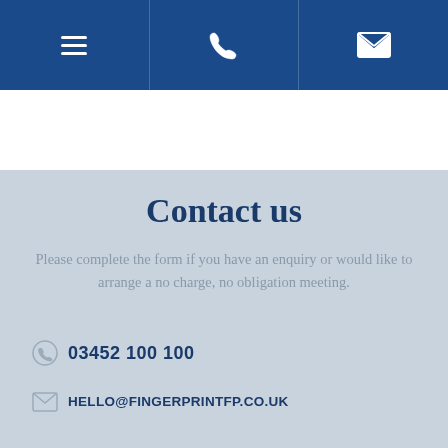[Figure (other): Navigation header bar with three icon cells on dark blue background: hamburger menu, phone handset, and envelope/mail icon]
Contact us
Please complete the form if you have an enquiry or would like to arrange a no charge, no obligation meeting.
03452 100 100
HELLO@FINGERPRINTFP.CO.UK